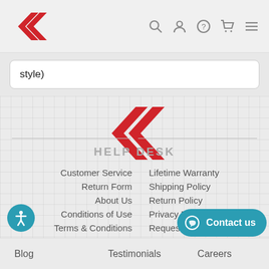[Figure (logo): CK brand logo in red, top left header]
style)
[Figure (logo): Large CK brand logo in red, center of footer area]
HELP DESK
Customer Service
Lifetime Warranty
Return Form
Shipping Policy
About Us
Return Policy
Conditions of Use
Privacy Policy
Terms & Conditions
Request Quote
Blog    Testimonials    Careers